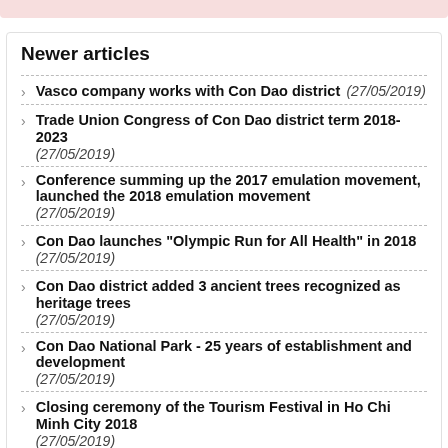Newer articles
Vasco company works with Con Dao district (27/05/2019)
Trade Union Congress of Con Dao district term 2018-2023 (27/05/2019)
Conference summing up the 2017 emulation movement, launched the 2018 emulation movement (27/05/2019)
Con Dao launches "Olympic Run for All Health" in 2018 (27/05/2019)
Con Dao district added 3 ancient trees recognized as heritage trees (27/05/2019)
Con Dao National Park - 25 years of establishment and development (27/05/2019)
Closing ceremony of the Tourism Festival in Ho Chi Minh City 2018 (27/05/2019)